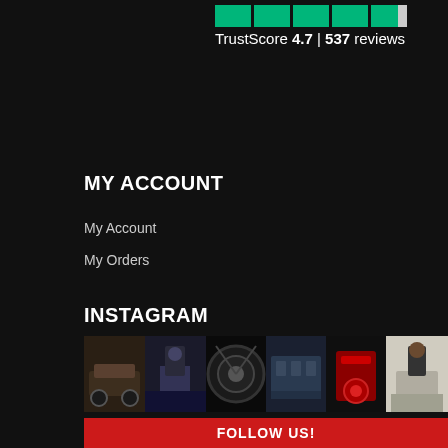[Figure (other): Trustpilot star rating bar with TrustScore 4.7 and 537 reviews]
TrustScore 4.7 | 537 reviews
MY ACCOUNT
My Account
My Orders
INSTAGRAM
[Figure (photo): Six Instagram photos showing car parts, engines, turbos, and mechanics in a garage]
FOLLOW US!